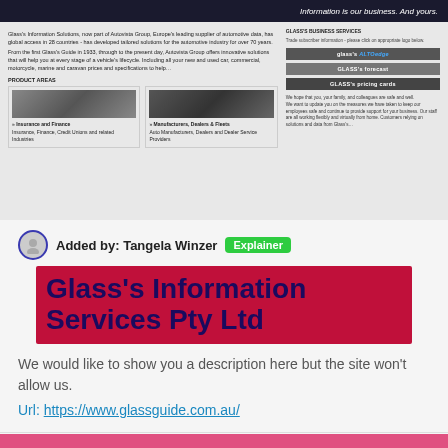[Figure (screenshot): Screenshot of Glass's Information Services website showing product areas, business services buttons (GLASs ALTOedge, GLASs forecast, GLASs pricing cards), and a COVID-19 message.]
Added by: Tangela Winzer  Explainer
Glass's Information Services Pty Ltd
We would like to show you a description here but the site won't allow us.
Url: https://www.glassguide.com.au/
46679
Monthly Visits
3171423
Alexa Rank
US
Popular in
Up
Service Staus